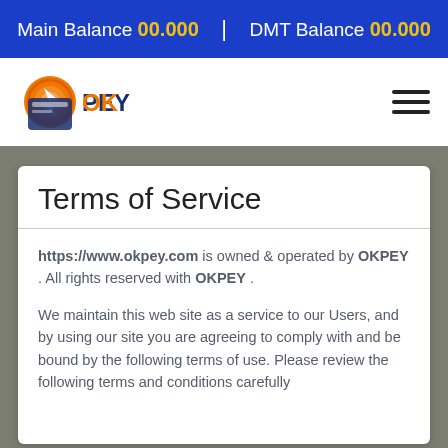Main Balance 00.000  |  DMT Balance 00.000
[Figure (logo): OKPey logo with orange circular icon and dark blue card graphic with lightning bolt, text reads OKPEY]
Terms of Service
https://www.okpey.com is owned & operated by OKPEY . All rights reserved with OKPEY .
We maintain this web site as a service to our Users, and by using our site you are agreeing to comply with and be bound by the following terms of use. Please review the following terms and conditions carefully